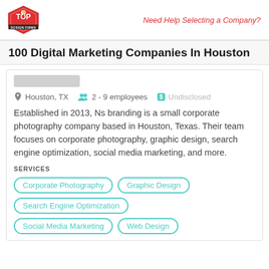Need Help Selecting a Company?
100 Digital Marketing Companies In Houston
Houston, TX   2 - 9 employees   Undisclosed
Established in 2013, Ns branding is a small corporate photography company based in Houston, Texas. Their team focuses on corporate photography, graphic design, search engine optimization, social media marketing, and more.
SERVICES
Corporate Photography
Graphic Design
Search Engine Optimization
Social Media Marketing
Web Design